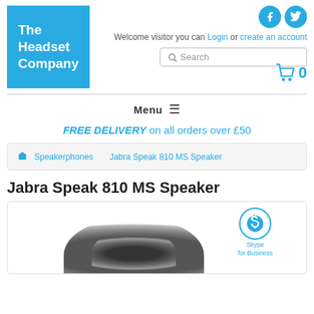[Figure (logo): The Headset Company logo — white text on blue square background]
[Figure (illustration): Social media icons: Facebook and Twitter circles in blue]
Welcome visitor you can Login or create an account
[Figure (screenshot): Search bar with magnifier icon]
[Figure (illustration): Shopping cart icon with 0 count]
Menu ≡
FREE DELIVERY on all orders over £50
🏠 Speakerphones Jabra Speak 810 MS Speaker
Jabra Speak 810 MS Speaker
[Figure (photo): Product image of Jabra Speak 810 MS Speaker with Skype for Business badge]